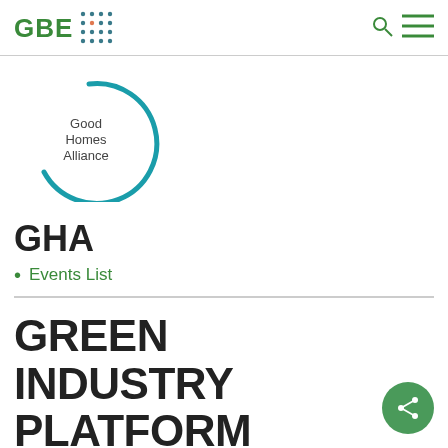GBE [logo with dot grid]
[Figure (logo): Good Homes Alliance circular teal logo with text 'Good Homes Alliance']
GHA
Events List
[Figure (logo): GREEN INDUSTRY PLATFORM logo text in bold dark sans-serif]